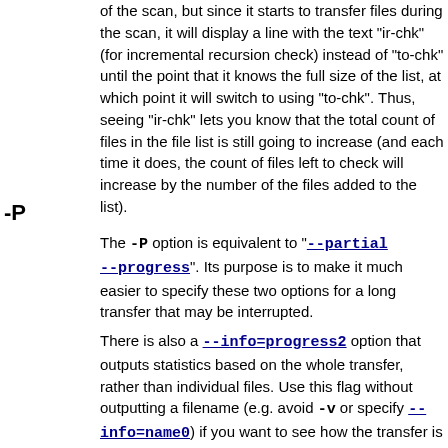of the scan, but since it starts to transfer files during the scan, it will display a line with the text "ir-chk" (for incremental recursion check) instead of "to-chk" until the point that it knows the full size of the list, at which point it will switch to using "to-chk". Thus, seeing "ir-chk" lets you know that the total count of files in the file list is still going to increase (and each time it does, the count of files left to check will increase by the number of the files added to the list).
-P
The -P option is equivalent to "--partial --progress". Its purpose is to make it much easier to specify these two options for a long transfer that may be interrupted.
There is also a --info=progress2 option that outputs statistics based on the whole transfer, rather than individual files. Use this flag without outputting a filename (e.g. avoid -v or specify --info=name0) if you want to see how the transfer is doing without scrolling the screen with a lot of names. (You don't need to specify the --progress option in order to use --info=progress2.)